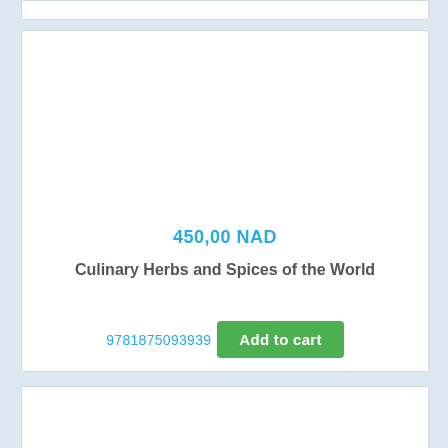450,00 NAD
Culinary Herbs and Spices of the World
9781875093939
Add to cart